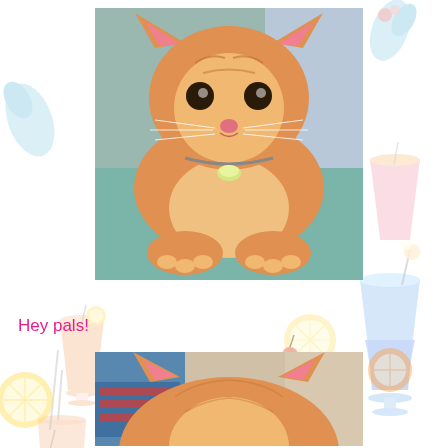[Figure (photo): Orange tabby cat with a yellow tag on its collar, lying down on a teal/green surface, looking directly at the camera. Background shows colorful floral fabric.]
Hey pals!
[Figure (photo): View of the back of an orange tabby cat's head and ears, with a blue bag visible in the background.]